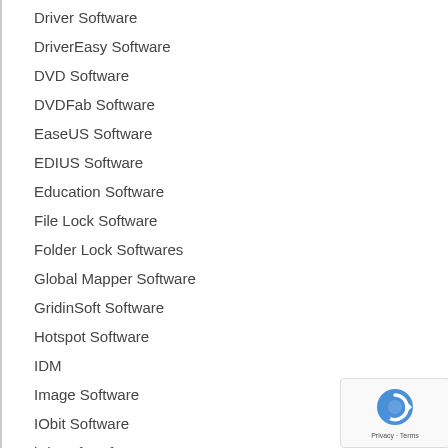Driver Software
DriverEasy Software
DVD Software
DVDFab Software
EaseUS Software
EDIUS Software
Education Software
File Lock Software
Folder Lock Softwares
Global Mapper Software
GridinSoft Software
Hotspot Software
IDM
Image Software
IObit Software
iSkysoft Software
KMS Tools Software
Logo Maker Software